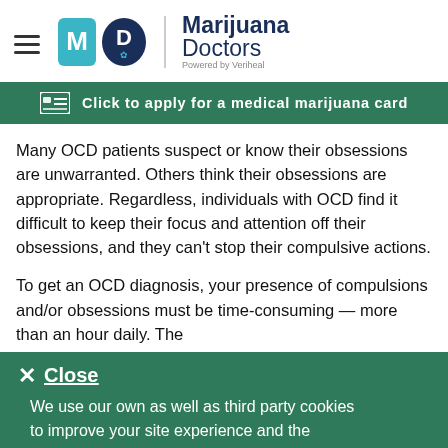Marijuana Doctors — Powered by Veriheal
Click to apply for a medical marijuana card
Many OCD patients suspect or know their obsessions are unwarranted. Others think their obsessions are appropriate. Regardless, individuals with OCD find it difficult to keep their focus and attention off their obsessions, and they can't stop their compulsive actions.
To get an OCD diagnosis, your presence of compulsions and/or obsessions must be time-consuming — more than an hour daily. The
Close
We use our own as well as third party cookies to improve your site experience and the services we make available. You can learn more about our use of cookies in our Privacy Policy.